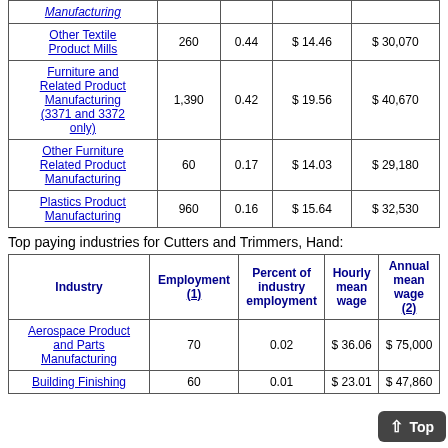| Industry | Employment (1) | Percent of industry employment | Hourly mean wage | Annual mean wage (2) |
| --- | --- | --- | --- | --- |
| Manufacturing |  |  |  |  |
| Other Textile Product Mills | 260 | 0.44 | $ 14.46 | $ 30,070 |
| Furniture and Related Product Manufacturing (3371 and 3372 only) | 1,390 | 0.42 | $ 19.56 | $ 40,670 |
| Other Furniture Related Product Manufacturing | 60 | 0.17 | $ 14.03 | $ 29,180 |
| Plastics Product Manufacturing | 960 | 0.16 | $ 15.64 | $ 32,530 |
Top paying industries for Cutters and Trimmers, Hand:
| Industry | Employment (1) | Percent of industry employment | Hourly mean wage | Annual mean wage (2) |
| --- | --- | --- | --- | --- |
| Aerospace Product and Parts Manufacturing | 70 | 0.02 | $ 36.06 | $ 75,000 |
| Building Finishing | 60 | 0.01 | $ 23.01 | $ 47,860 |